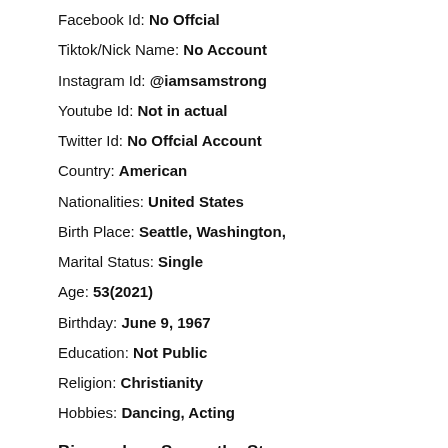Facebook Id: No Offcial
Tiktok/Nick Name: No Account
Instagram Id: @iamsamstrong
Youtube Id: Not in actual
Twitter Id: No Offcial Account
Country: American
Nationalities: United States
Birth Place: Seattle, Washington,
Marital Status: Single
Age: 53(2021)
Birthday: June 9, 1967
Education: Not Public
Religion: Christianity
Hobbies: Dancing, Acting
Biography – Samantha Strong